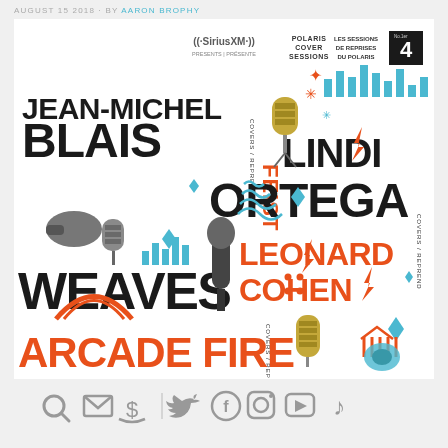AUGUST 15 2018 · BY AARON BROPHY
[Figure (illustration): Album cover for SiriusXM Polaris Cover Sessions No. 4, featuring Jean-Michel Blais, Feist, Lindi Ortega, Weaves, Leonard Cohen, and Arcade Fire, with illustrated microphones, music equipment, and graphic design elements in black, orange, and teal.]
Search, Email, Donate, Twitter, Facebook, Instagram, YouTube, TikTok icons